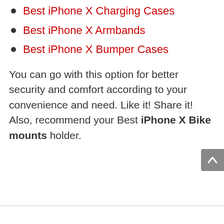Best iPhone X Charging Cases
Best iPhone X Armbands
Best iPhone X Bumper Cases
You can go with this option for better security and comfort according to your convenience and need. Like it! Share it! Also, recommend your Best iPhone X Bike mounts holder.